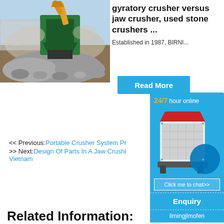[Figure (photo): Construction crusher machine operating outdoors, crushing rocks with dust, excavator arm visible in background]
gyratory crusher versus jaw crusher, used stone crushers ...
Established in 1987, BIRNI...
[Figure (other): Read More button (light blue/cyan background, white bold text)]
[Figure (infographic): Widget panel with '24/7 hour online' header in gold/white, image of industrial jaw crusher machine, 'Click me to chat>>' button, 'Enquiry' section, 'limingjlmofen' text at bottom]
<< Previous:Portable Crusher System Pr
>> Next:Design Of Parts In A Jaw Crushi
Vietnam
Related Information: